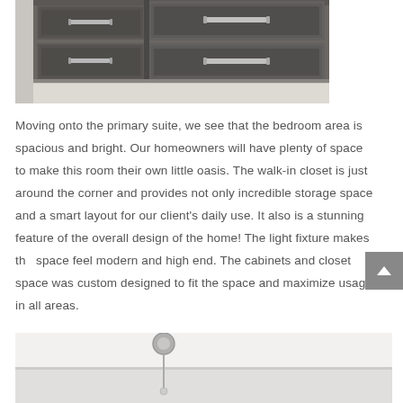[Figure (photo): Close-up photo of dark gray/charcoal cabinet drawers with silver bar handles on a light wood floor. The cabinets have raised panel detailing and brushed nickel hardware.]
Moving onto the primary suite, we see that the bedroom area is spacious and bright. Our homeowners will have plenty of space to make this room their own little oasis. The walk-in closet is just around the corner and provides not only incredible storage space and a smart layout for our client's daily use. It also is a stunning feature of the overall design of the home! The light fixture makes the space feel modern and high end. The cabinets and closet space was custom designed to fit the space and maximize usage in all areas.
[Figure (photo): Partial view of a room ceiling or wall in white/light gray with a circular ceiling light fixture and a cord or wire hanging down.]